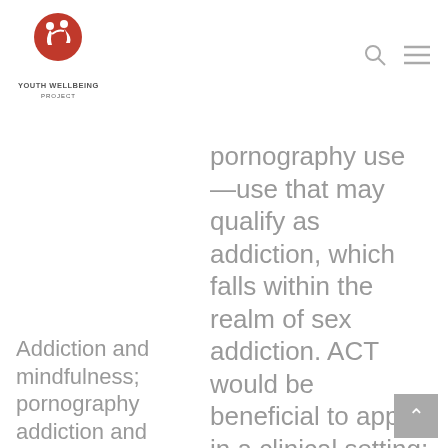Youth Wellbeing Project — navigation header with logo, search icon, and menu icon
pornography use—use that may qualify as addiction, which falls within the realm of sex addiction. ACT would be beneficial to apply in a clinical setting; for 1-on-1 therapy, coaching and sexuality workshops using
Addiction and mindfulness; pornography addiction and